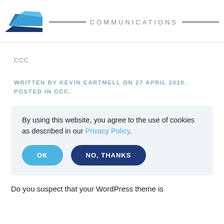[Figure (logo): Blue iron-shaped logo with dark blue base and lighter blue top, followed by a horizontal gray line with the text COMMUNICATIONS in gray capital letters with equal signs on each side]
CCC
WRITTEN BY KEVIN CARTMELL ON 27 APRIL 2020. POSTED IN CCC.
By using this website, you agree to the use of cookies as described in our Privacy Policy.
OK
NO, THANKS
Do you suspect that your WordPress theme is